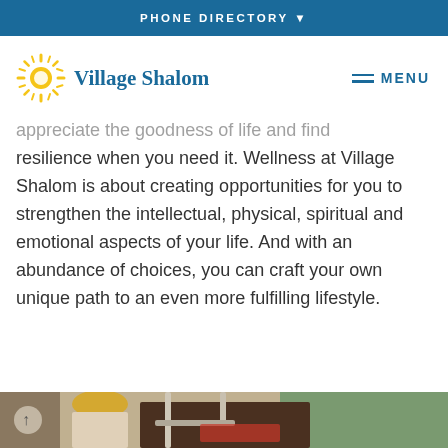PHONE DIRECTORY ▼
[Figure (logo): Village Shalom logo with sun icon and blue text]
appreciate the goodness of life and find resilience when you need it. Wellness at Village Shalom is about creating opportunities for you to strengthen the intellectual, physical, spiritual and emotional aspects of your life. And with an abundance of choices, you can craft your own unique path to an even more fulfilling lifestyle.
[Figure (photo): Photo of a person in a fitness/gym setting with exercise equipment]